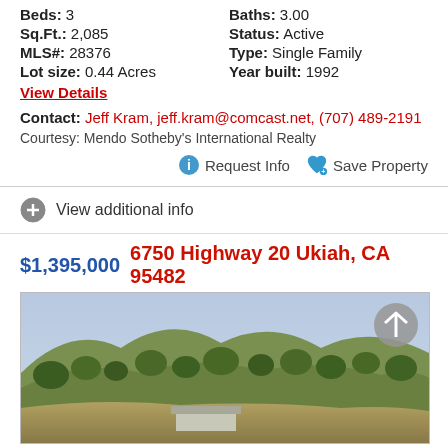Beds: 3
Baths: 3.00
Sq.Ft.: 2,085
Status: Active
MLS#: 28376
Type: Single Family
Lot size: 0.44 Acres
Year built: 1992
View Details
Contact: Jeff Kram, jeff.kram@comcast.net, (707) 489-2191
Courtesy: Mendo Sotheby's International Realty
Request Info   Save Property
View additional info
$1,395,000   6750 Highway 20 Ukiah, CA 95482
[Figure (photo): Aerial/landscape photo of a rural property with trees and hills in Ukiah, CA]